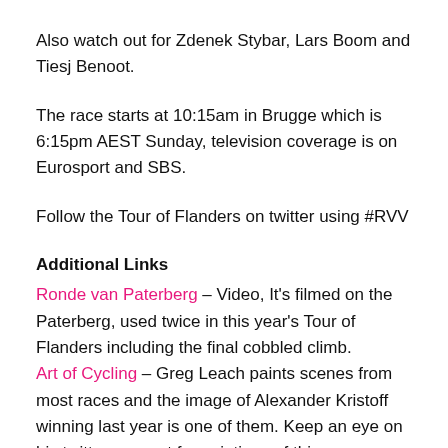Also watch out for Zdenek Stybar, Lars Boom and Tiesj Benoot.
The race starts at 10:15am in Brugge which is 6:15pm AEST Sunday, television coverage is on Eurosport and SBS.
Follow the Tour of Flanders on twitter using #RVV
Additional Links
Ronde van Paterberg – Video, It's filmed on the Paterberg, used twice in this year's Tour of Flanders including the final cobbled climb.
Art of Cycling – Greg Leach paints scenes from most races and the image of Alexander Kristoff winning last year is one of them. Keep an eye on his twitter account for paintings of this years race.